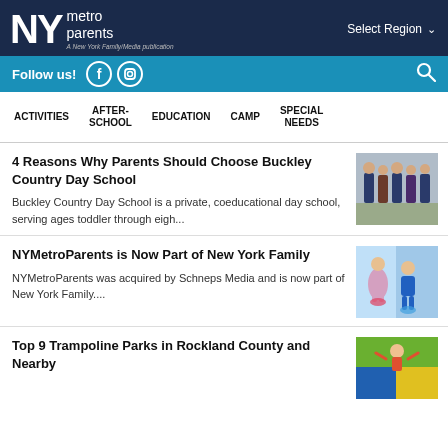NY metro parents — A New York Family/Media publication
Follow us!
ACTIVITIES | AFTER-SCHOOL | EDUCATION | CAMP | SPECIAL NEEDS
4 Reasons Why Parents Should Choose Buckley Country Day School
Buckley Country Day School is a private, coeducational day school, serving ages toddler through eigh...
[Figure (photo): Group of students in school uniforms standing outdoors]
NYMetroParents is Now Part of New York Family
NYMetroParents was acquired by Schneps Media and is now part of New York Family....
[Figure (illustration): Illustrated image of people with colorful background]
Top 9 Trampoline Parks in Rockland County and Nearby
[Figure (photo): Child jumping on a colorful trampoline]